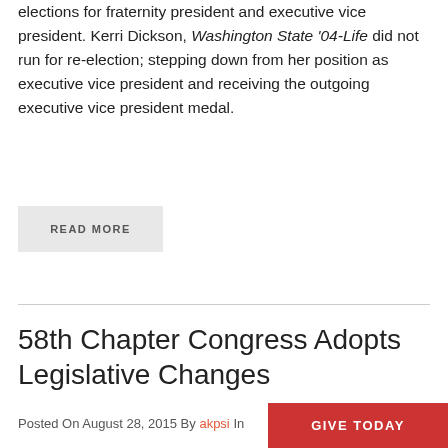elections for fraternity president and executive vice president. Kerri Dickson, Washington State '04-Life did not run for re-election; stepping down from her position as executive vice president and receiving the outgoing executive vice president medal.
READ MORE
58th Chapter Congress Adopts Legislative Changes
Posted On August 28, 2015 By akpsi In
GIVE TODAY